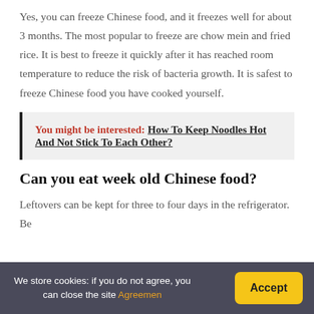Yes, you can freeze Chinese food, and it freezes well for about 3 months. The most popular to freeze are chow mein and fried rice. It is best to freeze it quickly after it has reached room temperature to reduce the risk of bacteria growth. It is safest to freeze Chinese food you have cooked yourself.
You might be interested: How To Keep Noodles Hot And Not Stick To Each Other?
Can you eat week old Chinese food?
Leftovers can be kept for three to four days in the refrigerator. Be
We store cookies: if you do not agree, you can close the site Agreemen